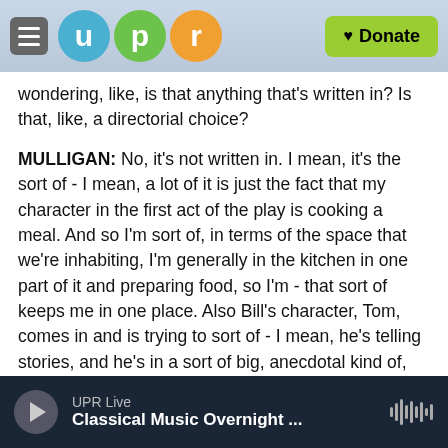UPR — u p r — Donate
wondering, like, is that anything that's written in? Is that, like, a directorial choice?
MULLIGAN: No, it's not written in. I mean, it's the sort of - I mean, a lot of it is just the fact that my character in the first act of the play is cooking a meal. And so I'm sort of, in terms of the space that we're inhabiting, I'm generally in the kitchen in one part of it and preparing food, so I'm - that sort of keeps me in one place. Also Bill's character, Tom, comes in and is trying to sort of - I mean, he's telling stories, and he's in a sort of big, anecdotal kind of, you know, flurry of information. And he's kind of,
UPR Live — Classical Music Overnight ...